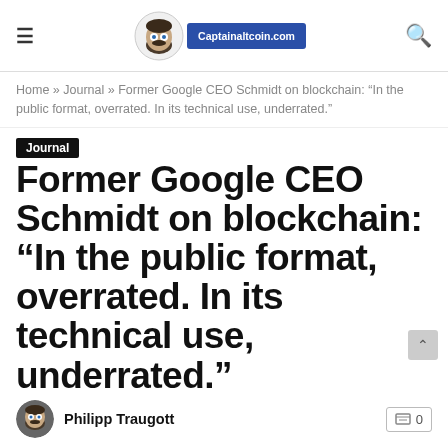Captainaltcoin.com
Home » Journal » Former Google CEO Schmidt on blockchain: “In the public format, overrated. In its technical use, underrated.”
Journal
Former Google CEO Schmidt on blockchain: “In the public format, overrated. In its technical use, underrated.”
Philipp Traugott